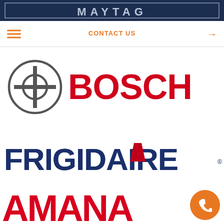[Figure (logo): Maytag logo — white text on dark navy background banner]
[Figure (screenshot): Navigation bar with hamburger menu icon on left, orange 'CONTACT US' text and orange right arrow on right]
[Figure (logo): Bosch logo — grey circular H icon on left, bold red BOSCH text on right]
[Figure (logo): Frigidaire logo — bold dark navy blue text with red triangle accent over the A]
[Figure (logo): Amana logo — bold red text, partially visible, with orange phone call button circle in bottom right corner]